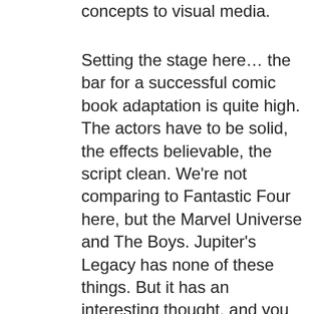concepts to visual media.
Setting the stage here… the bar for a successful comic book adaptation is quite high. The actors have to be solid, the effects believable, the script clean. We're not comparing to Fantastic Four here, but the Marvel Universe and The Boys. Jupiter's Legacy has none of these things. But it has an interesting thought, and you have more than enough time, so…
Based on a series by Mark Millar, who's largest successes are based on deconstructing super heroes (Marvel Civil War, Old Man Logan), the underlying story is how does a golden age super-hero fit into today's complex geo-political world. The world isn't beset by bank robbers or purse snatches, but supervillains who will commit crazy